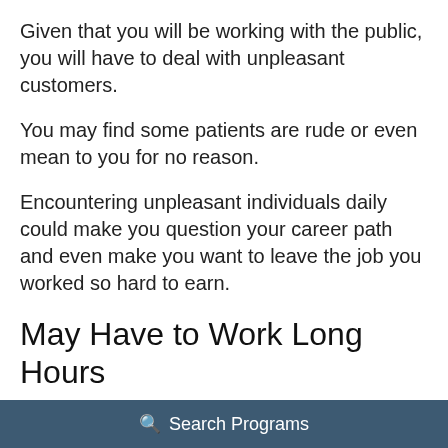Given that you will be working with the public, you will have to deal with unpleasant customers.
You may find some patients are rude or even mean to you for no reason.
Encountering unpleasant individuals daily could make you question your career path and even make you want to leave the job you worked so hard to earn.
May Have to Work Long Hours
One of the greatest cons of becoming a pharmacy technician is the requirement to work
Search Programs